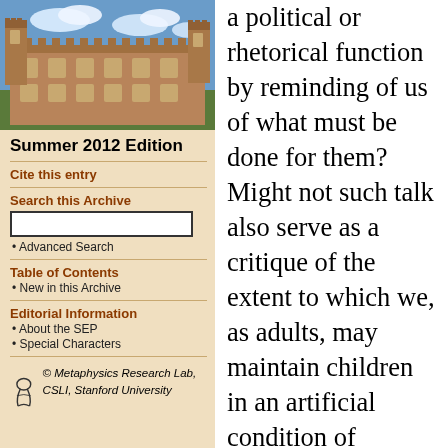[Figure (photo): Aerial or ground view of a stone university building (likely Oxford or similar) with blue sky and clouds]
Summer 2012 Edition
Cite this entry
Search this Archive
Advanced Search
Table of Contents
New in this Archive
Editorial Information
About the SEP
Special Characters
© Metaphysics Research Lab, CSLI, Stanford University
a political or rhetorical function by reminding of us of what must be done for them? Might not such talk also serve as a critique of the extent to which we, as adults, may maintain children in an artificial condition of dependence and vulnerability, denying them the opportunity to make their own choices? Are not children one of the last social groups to be emancipated as others—women, blacks—already have been, and is not the language of rights the appropriate mode in which to campaign for that emancipation? The reply (O'Neill 1988, 459– 463) is that such talk about rights talk